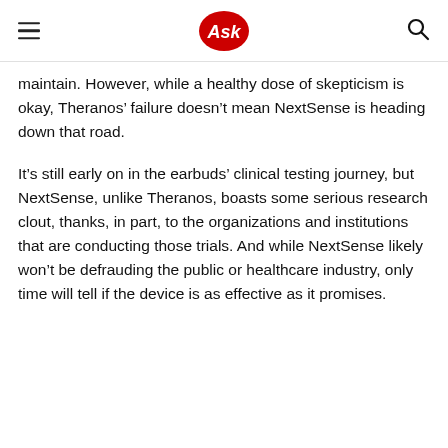Ask
maintain. However, while a healthy dose of skepticism is okay, Theranos’ failure doesn’t mean NextSense is heading down that road.
It’s still early on in the earbuds’ clinical testing journey, but NextSense, unlike Theranos, boasts some serious research clout, thanks, in part, to the organizations and institutions that are conducting those trials. And while NextSense likely won’t be defrauding the public or healthcare industry, only time will tell if the device is as effective as it promises.